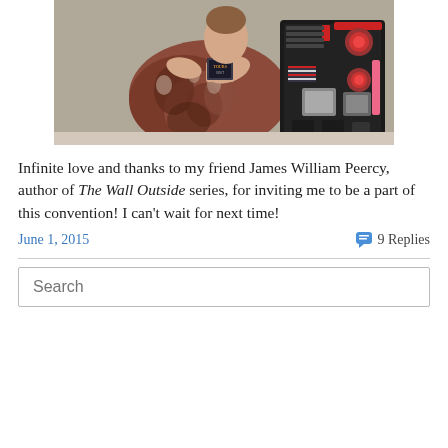[Figure (photo): A person in a patterned floral dress crouching next to a large dark robot/R2D2-style prop, holding a book, at what appears to be a convention.]
Infinite love and thanks to my friend James William Peercy, author of The Wall Outside series, for inviting me to be a part of this convention!  I can't wait for next time!
June 1, 2015
9 Replies